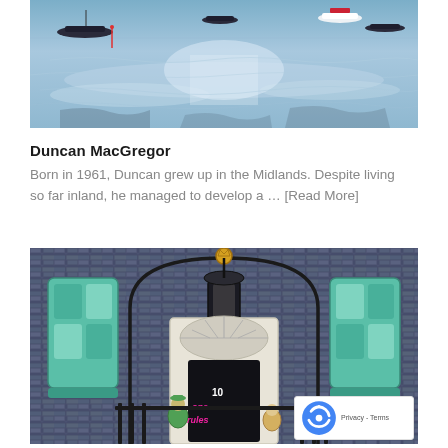[Figure (photo): Painting of boats on calm reflective blue water, several dark boats and one white boat visible on a shimmering surface]
Duncan MacGregor
Born in 1961, Duncan grew up in the Midlands. Despite living so far inland, he managed to develop a … [Read More]
[Figure (illustration): Colorful illustration of 10 Downing Street with iron gates, ornate black lamp, teal/green pillar boxes on either side, brick wall, and a figure at the door; text on door reads 'one rules' in pink graffiti-style lettering]